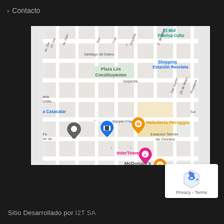> Contacto
[Figure (map): Google Maps street map centered on an area in Argentina showing streets including Av. Gdor., Santiago del Estero, Urquiza, 1° de Mayo, Suipacha, San Martín, 25 de Mayo, Rivadavia, Irigoyen Freyre. Notable locations marked: Plaza Los Constituyentes (green), Shopping Estación Recoleta (blue text), El Mol Fábrica Cultu (teal text), Heladería Peruggia (orange pin), InterTower (pink pin/text), McDonald's (orange pin), a Casacatar (blue pin), unnamed gray pin.]
Sitio Desarrollado por I2T SA